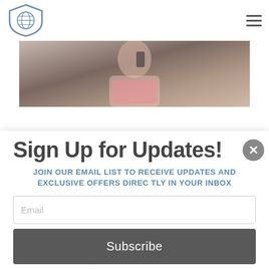[Figure (logo): Shield logo with globe icon, blue/gray tones]
[Figure (photo): Photo strip showing a woman in pink holding a phone]
Sign Up for Updates!
JOIN OUR EMAIL LIST TO RECEIVE UPDATES AND EXCLUSIVE OFFERS DIRECTLY IN YOUR INBOX
Email
Subscribe
*By completing this form you are signing up to receive our emails and can unsubscribe at any time.